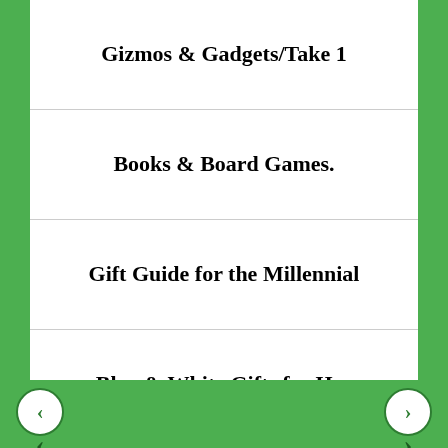Gizmos & Gadgets/Take 1
Books & Board Games.
Gift Guide for the Millennial
Blue & White Gifts for Her
Unofficial Thanksgiving Day Survival Guide
Door Decor & More
The Friday Files & 2 Winners